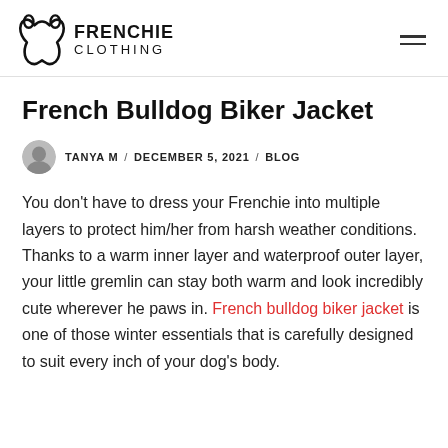FRENCHIE CLOTHING
French Bulldog Biker Jacket
TANYA M / DECEMBER 5, 2021 / BLOG
You don't have to dress your Frenchie into multiple layers to protect him/her from harsh weather conditions. Thanks to a warm inner layer and waterproof outer layer, your little gremlin can stay both warm and look incredibly cute wherever he paws in. French bulldog biker jacket is one of those winter essentials that is carefully designed to suit every inch of your dog's body.